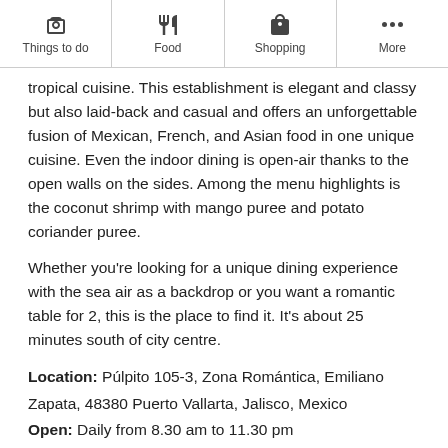Things to do | Food | Shopping | More
tropical cuisine. This establishment is elegant and classy but also laid-back and casual and offers an unforgettable fusion of Mexican, French, and Asian food in one unique cuisine. Even the indoor dining is open-air thanks to the open walls on the sides. Among the menu highlights is the coconut shrimp with mango puree and potato coriander puree.
Whether you're looking for a unique dining experience with the sea air as a backdrop or you want a romantic table for 2, this is the place to find it. It's about 25 minutes south of city centre.
Location: Púlpito 105-3, Zona Romántica, Emiliano Zapata, 48380 Puerto Vallarta, Jalisco, Mexico
Open: Daily from 8.30 am to 11.30 pm
Phone: +52 322 222 5225